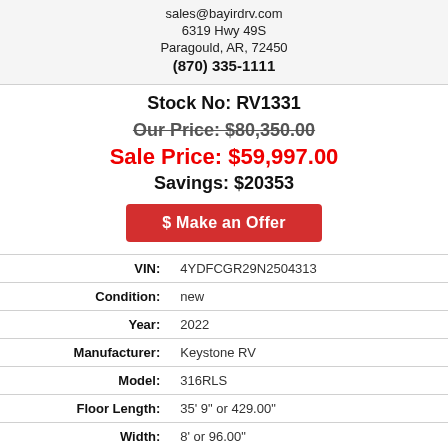sales@bayirdrv.com
6319 Hwy 49S
Paragould, AR, 72450
(870) 335-1111
Stock No: RV1331
Our Price: $80,350.00
Sale Price: $59,997.00
Savings: $20353
$ Make an Offer
| Field | Value |
| --- | --- |
| VIN: | 4YDFCGR29N2504313 |
| Condition: | new |
| Year: | 2022 |
| Manufacturer: | Keystone RV |
| Model: | 316RLS |
| Floor Length: | 35' 9" or 429.00" |
| Width: | 8' or 96.00" |
| Height: | 12' 11" or 155.00" |